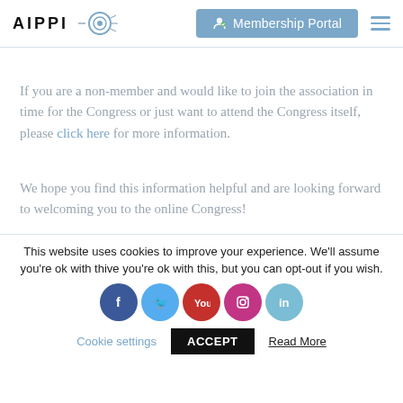AIPPI — Membership Portal
If you are a non-member and would like to join the association in time for the Congress or just want to attend the Congress itself, please click here for more information.
We hope you find this information helpful and are looking forward to welcoming you to the online Congress!
This website uses cookies to improve your experience. We'll assume you're ok with this, but you can opt-out if you wish.
Cookie settings  ACCEPT  Read More